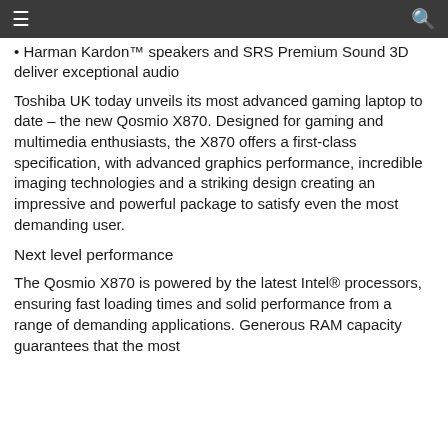≡   🔍
• Harman Kardon™ speakers and SRS Premium Sound 3D deliver exceptional audio
Toshiba UK today unveils its most advanced gaming laptop to date – the new Qosmio X870. Designed for gaming and multimedia enthusiasts, the X870 offers a first-class specification, with advanced graphics performance, incredible imaging technologies and a striking design creating an impressive and powerful package to satisfy even the most demanding user.
Next level performance
The Qosmio X870 is powered by the latest Intel® processors, ensuring fast loading times and solid performance from a range of demanding applications. Generous RAM capacity guarantees that the most